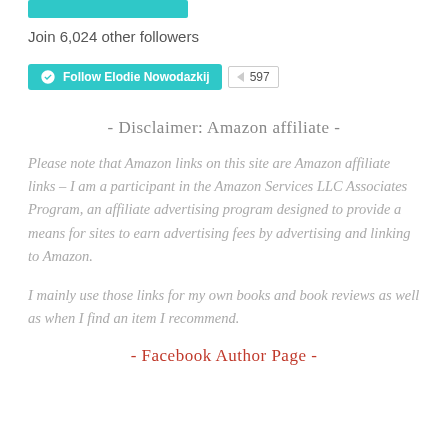[Figure (other): Teal/cyan colored button element at top of page]
Join 6,024 other followers
[Figure (other): WordPress Follow Elodie Nowodazkij button (teal) with 597 count badge]
- Disclaimer: Amazon affiliate -
Please note that Amazon links on this site are Amazon affiliate links – I am a participant in the Amazon Services LLC Associates Program, an affiliate advertising program designed to provide a means for sites to earn advertising fees by advertising and linking to Amazon.
I mainly use those links for my own books and book reviews as well as when I find an item I recommend.
- Facebook Author Page -